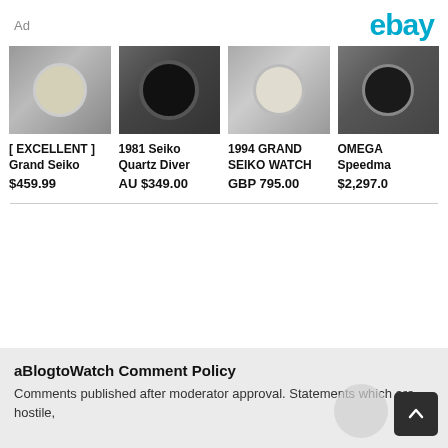Ad
[Figure (logo): eBay logo in teal/cyan color]
[Figure (photo): Grand Seiko watch with silver dial and black strap]
[ EXCELLENT ] Grand Seiko
$459.99
[Figure (photo): 1981 Seiko Quartz Diver watch with black dial on wrist]
1981 Seiko Quartz Diver
AU $349.00
[Figure (photo): 1994 Grand Seiko watch with light dial and leather strap]
1994 GRAND SEIKO WATCH
GBP 795.00
[Figure (photo): OMEGA Speedmaster watch with dark dial and metal bracelet]
OMEGA Speedma
$2,297.0
aBlogtoWatch Comment Policy
Comments published after moderator approval. Statements which are hostile,